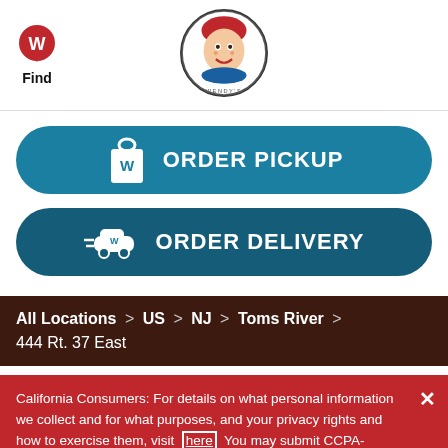[Figure (logo): Wendy's location pin icon with W and Find text label]
[Figure (logo): Wendy's circular logo with girl mascot]
[Figure (infographic): ORDER PICKUP button with bag icon on teal rounded rectangle]
[Figure (infographic): ORDER DELIVERY button with delivery car icon on dark teal rounded rectangle]
All Locations > US > NJ > Toms River >
444 Rt. 37 East
California Consumers: For details on what personal information we collect and for what purposes, and your privacy rights and how to exercise them, visit here You may submit CCPA-related requests to Wendy's by filling out the webform here.